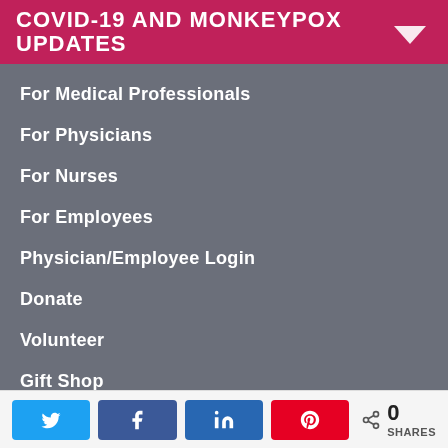COVID-19 AND MONKEYPOX UPDATES
For Medical Professionals
For Physicians
For Nurses
For Employees
Physician/Employee Login
Donate
Volunteer
Gift Shop
Wellness Center
0 SHARES